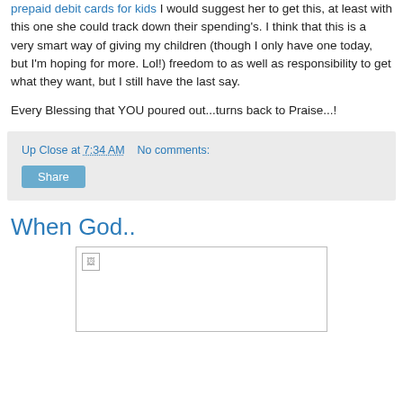prepaid debit cards for kids I would suggest her to get this, at least with this one she could track down their spending's. I think that this is a very smart way of giving my children (though I only have one today, but I'm hoping for more. Lol!) freedom to as well as responsibility to get what they want, but I still have the last say.
Every Blessing that YOU poured out...turns back to Praise...!
Up Close at 7:34 AM   No comments:
Share
When God..
[Figure (photo): Broken image placeholder inside a bordered box]